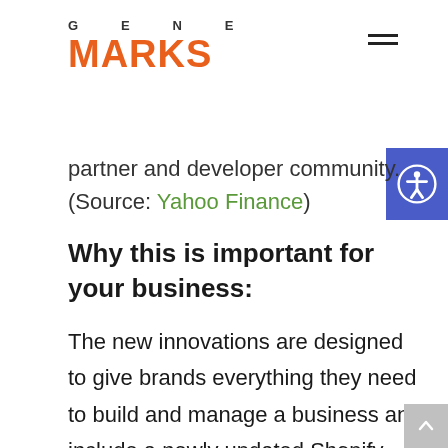GENE MARKS
partner and developer community. (Source: Yahoo Finance)
Why this is important for your business:
The new innovations are designed to give brands everything they need to build and manage a business and include a newly updated Shopify Plus platform for enterprise brands, more global